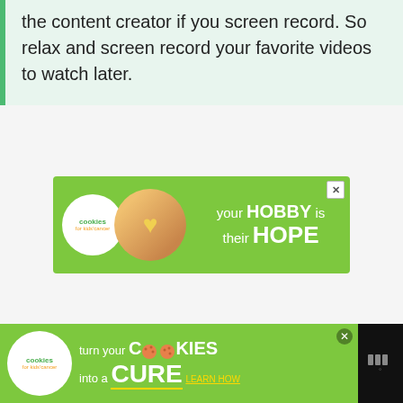the content creator if you screen record. So relax and screen record your favorite videos to watch later.
[Figure (infographic): Advertisement banner for Cookies for Kids Cancer: 'your HOBBY is their HOPE' on green background with cookie/heart image and logo]
[Figure (infographic): Heart/like button (teal circle with heart icon) and share button (white circle with share icon) on right side]
[Figure (infographic): Bottom advertisement banner for Cookies for Kids Cancer: 'turn your COOKIES into a CURE LEARN HOW' on green background, on black footer bar]